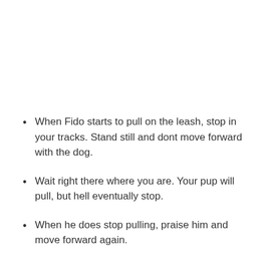When Fido starts to pull on the leash, stop in your tracks. Stand still and dont move forward with the dog.
Wait right there where you are. Your pup will pull, but hell eventually stop.
When he does stop pulling, praise him and move forward again.